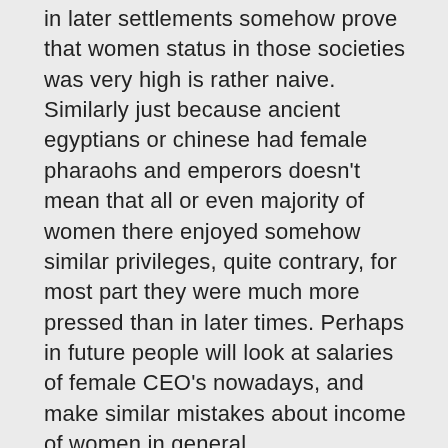in later settlements somehow prove that women status in those societies was very high is rather naive. Similarly just because ancient egyptians or chinese had female pharaohs and emperors doesn't mean that all or even majority of women there enjoyed somehow similar privileges, quite contrary, for most part they were much more pressed than in later times. Perhaps in future people will look at salaries of female CEO's nowadays, and make similar mistakes about income of women in general. As to the original topic of this post.